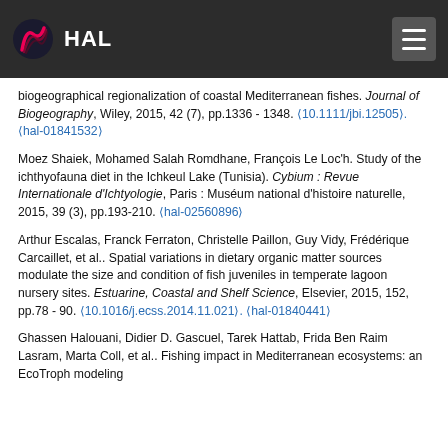HAL
biogeographical regionalization of coastal Mediterranean fishes. Journal of Biogeography, Wiley, 2015, 42 (7), pp.1336 - 1348. ⟨10.1111/jbi.12505⟩. ⟨hal-01841532⟩
Moez Shaiek, Mohamed Salah Romdhane, François Le Loc'h. Study of the ichthyofauna diet in the Ichkeul Lake (Tunisia). Cybium : Revue Internationale d'Ichtyologie, Paris : Muséum national d'histoire naturelle, 2015, 39 (3), pp.193-210. ⟨hal-02560896⟩
Arthur Escalas, Franck Ferraton, Christelle Paillon, Guy Vidy, Frédérique Carcaillet, et al.. Spatial variations in dietary organic matter sources modulate the size and condition of fish juveniles in temperate lagoon nursery sites. Estuarine, Coastal and Shelf Science, Elsevier, 2015, 152, pp.78 - 90. ⟨10.1016/j.ecss.2014.11.021⟩. ⟨hal-01840441⟩
Ghassen Halouani, Didier D. Gascuel, Tarek Hattab, Frida Ben Raim Lasram, Marta Coll, et al.. Fishing impact in Mediterranean ecosystems: an EcoTroph modeling